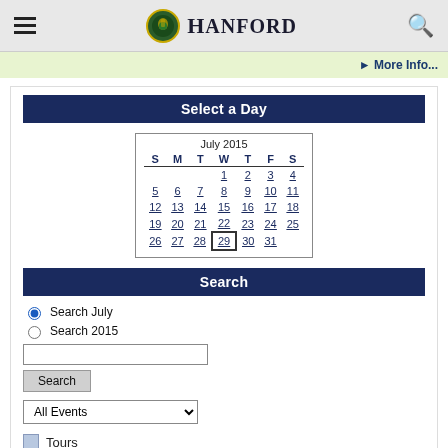Hanford
More Info...
Select a Day
[Figure (other): July 2015 monthly calendar widget with day links S M T W T F S, dates 1-31, date 29 highlighted with a box border]
Search
Search July (selected radio button)
Search 2015
Search (button)
All Events (dropdown)
Tours